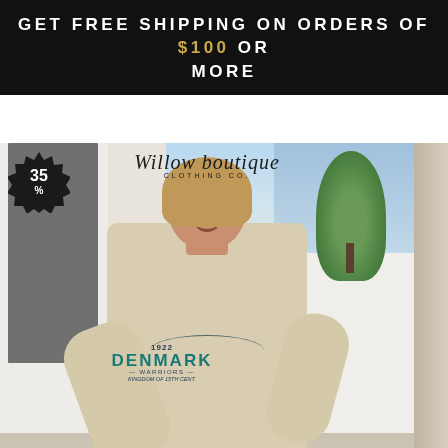GET FREE SHIPPING ON ORDERS OF $100 OR MORE
[Figure (photo): Smiling young woman wearing a beige/tan long-sleeve graphic sweatshirt with 'DENMARK Warriors 1922 Kingdom of 15th Cent.' design, standing outdoors in front of a white building. A 35% off starburst badge is in the top-left corner. A 'Willow Boutique Clothing Co.' logo appears at the top.]